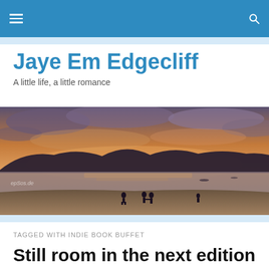Jaye Em Edgecliff
A little life, a little romance
[Figure (photo): Sunset beach scene with silhouettes of people on the shore, hills in the background, and a dramatic sky with clouds. Watermark: epSos.de]
TAGGED WITH INDIE BOOK BUFFET
Still room in the next edition